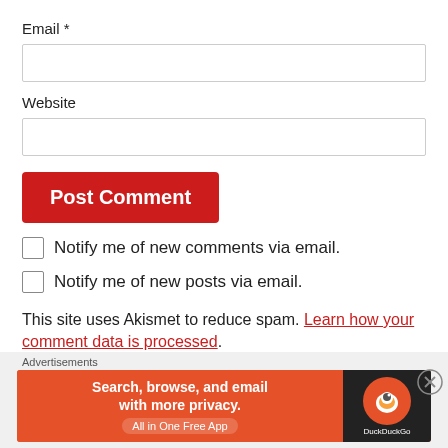Email *
Website
Post Comment
Notify me of new comments via email.
Notify me of new posts via email.
This site uses Akismet to reduce spam. Learn how your comment data is processed.
Advertisements
[Figure (screenshot): DuckDuckGo advertisement banner: 'Search, browse, and email with more privacy. All in One Free App' with DuckDuckGo logo on dark right panel]